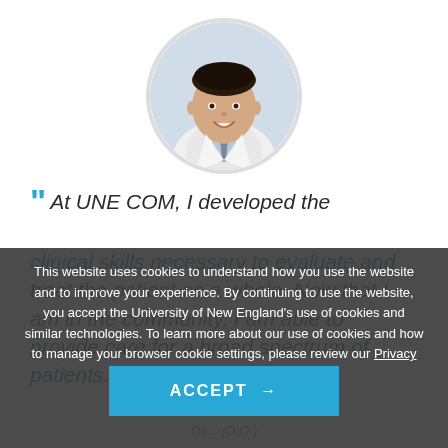[Figure (photo): Circular headshot of a male doctor in a white coat with a tie, smiling]
“ At UNE COM, I developed the clinical skills necessary to evaluate and treat the patient as a whole. Now that I am in the community, I am able to provide care for a broad spectrum of patients.
This website uses cookies to understand how you use the website and to improve your experience. By continuing to use the website, you accept the University of New England’s use of cookies and similar technologies. To learn more about our use of cookies and how to manage your browser cookie settings, please review our Privacy Notice.
ACCEPT →
Os... (D.O.)